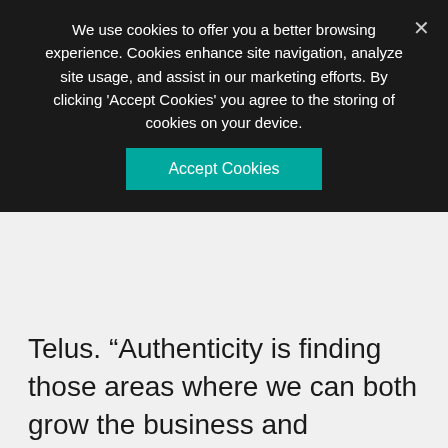We use cookies to offer you a better browsing experience. Cookies enhance site navigation, analyze site usage, and assist in our marketing efforts. By clicking 'Accept Cookies' you agree to the storing of cookies on your device.
Accept Cookies
Telus. “Authenticity is finding those areas where we can both grow the business and contribute positively to society, and that is really, really impactful,” says Andrea Barrack, global head of ESG and corporate citizenship at TD. She says companies looking to build a strong brand should do more than simply pick “a flavour of the month” to support, but instead consider what matters most to both